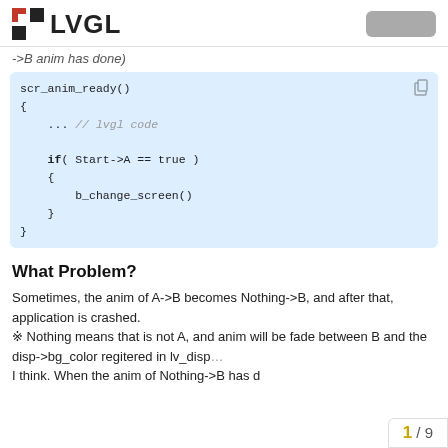LVGL
->B anim has done)
[Figure (screenshot): Code block showing scr_anim_ready() function with lvgl code comment, if(Start->A == true) condition and b_change_screen() call]
What Problem?
Sometimes, the anim of A->B becomes Nothing->B, and after that, application is crashed.
※ Nothing means that is not A, and anim will be fade between B and the disp->bg_color regitered in lv_disp... I think. When the anim of Nothing->B has d
1 / 9